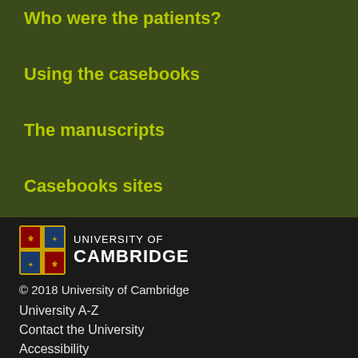Who were the patients?
Using the casebooks
The manuscripts
Casebooks sites
[Figure (logo): University of Cambridge logo with shield/crest and text 'UNIVERSITY OF CAMBRIDGE']
© 2018 University of Cambridge
University A-Z
Contact the University
Accessibility